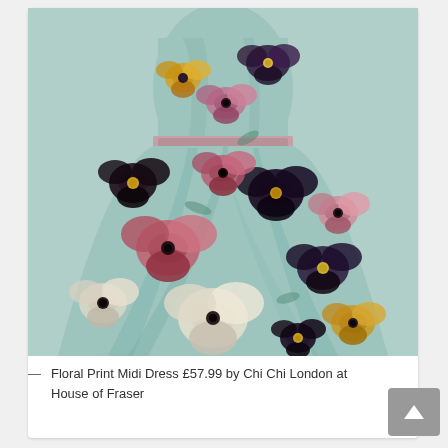[Figure (photo): A floral print midi dress with a fitted bodice and full skirt, featuring a pansy/floral pattern in teal, pink, purple, yellow and black on a light blue-green background. The dress is sleeveless with a round neck and an A-line silhouette.]
— Floral Print Midi Dress £57.99 by Chi Chi London at House of Fraser